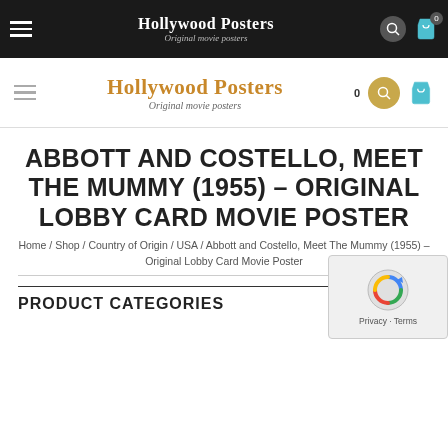Hollywood Posters - Original movie posters (top black nav)
Hollywood Posters - Original movie posters (white nav)
ABBOTT AND COSTELLO, MEET THE MUMMY (1955) – ORIGINAL LOBBY CARD MOVIE POSTER
Home / Shop / Country of Origin / USA / Abbott and Costello, Meet The Mummy (1955) – Original Lobby Card Movie Poster
PRODUCT CATEGORIES